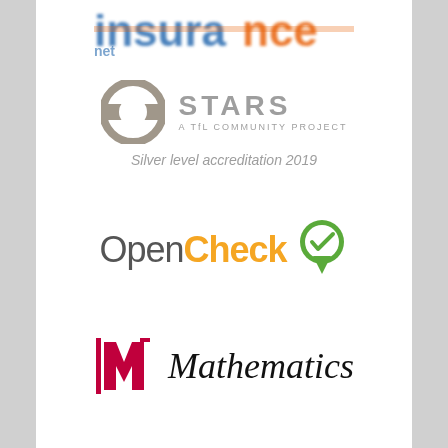[Figure (logo): insuranceNET logo with blue and orange text, partially cropped at top]
[Figure (logo): STARS - A TfL Community Project logo with circular TfL roundel in grey]
Silver level accreditation 2019
[Figure (logo): OpenCheck logo with grey and orange text and green location pin with checkmark]
[Figure (logo): Mathematics in Education and Industry (MEI) logo with red M icon and Mathematics text]